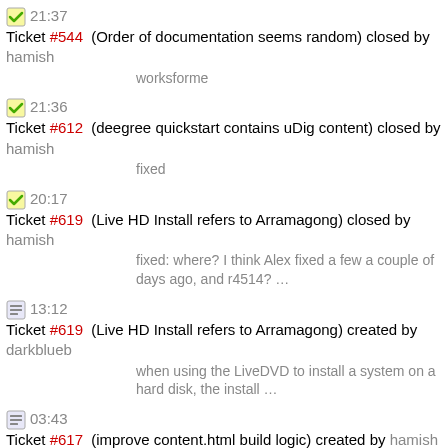21:37 Ticket #544 (Order of documentation seems random) closed by hamish
worksforme
21:36 Ticket #612 (deegree quickstart contains uDig content) closed by hamish
fixed
20:17 Ticket #619 (Live HD Install refers to Arramagong) closed by hamish
fixed: where? I think Alex fixed a few a couple of days ago, and r4514? ...
13:12 Ticket #619 (Live HD Install refers to Arramagong) created by darkblueb
when using the LiveDVD to install a system on a hard disk, the install ...
03:43 Ticket #617 (improve content.html build logic) created by hamish
Hi, OpenJUMP's overview page fails to link from the content.html ...
03:23 Ticket #616 (better screenshot for Viking) created by hamish